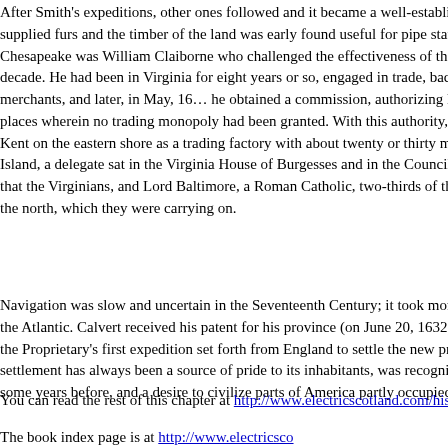After Smith's expeditions, other ones followed and it became a well-established enterprise. The Indians also supplied furs and the timber of the land was early found useful for pipe staves. Among the traders on the Chesapeake was William Claiborne who challenged the effectiveness of the Maryland charter for over a decade. He had been in Virginia for eight years or so, engaged in trade, backed by a firm of London merchants, and later, in May, 1631, he obtained a commission, authorizing him and his associates to trade in places wherein no trading monopoly had been granted. With this authority, Claiborne planted the Isle of Kent on the eastern shore as a trading factory with about twenty or thirty men. From Claiborne's Kent Island, a delegate sat in the Virginia House of Burgesses and in the Council. It is not surprising, therefore, that the Virginians, and Lord Baltimore, a Roman Catholic, two-thirds of their profits from the fur trade to the north, which they were carrying on.
Navigation was slow and uncertain in the Seventeenth Century; it took months for a sailing vessel to cross the Atlantic. Calvert received his patent for his province (on June 20, 1632), that it was not until 1633, did the Proprietary's first expedition set forth from England to settle the new province. The fact that Maryland's settlement has always been a source of pride to its inhabitants, was recognized by the first Lord Baltimore some years before, and a desire to civilize parts of America partly occupied by savages.
You can read the rest of this chapter at http://www.electricscotland.com/history/americ...
The book index page is at http://www.electricsco...